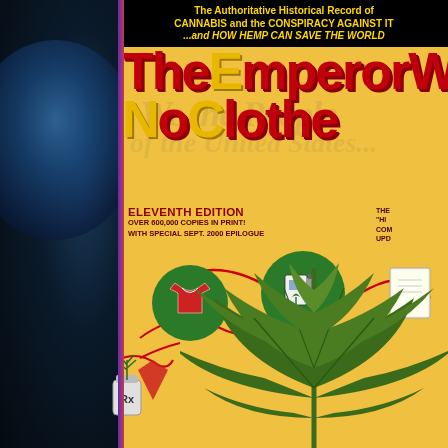[Figure (photo): Book cover of 'The Emperor Wears No Clothes' - Eleventh Edition. Yellow background with U.S. Constitution 'We the People' watermark text. Large red stylized title text. Black top banner with gold text about cannabis history. Illustrated icons of shirt, gas pump with cannabis leaf, book, and Rx medicine jar with hemp plant. Large cannabis/hemp leaf in foreground at bottom right. Dark blue-black area on left side of image with blue orb/globe.]
The Authoritative Historical Record of CANNABIS and the CONSPIRACY AGAINST IT ... and HOW HEMP CAN SAVE THE WORLD
The Emperor Wears No Clothes
ELEVENTH EDITION
OVER 600,000 COPIES IN PRINT!
WITH SPECIAL SEPT. 2000 EPILOGUE